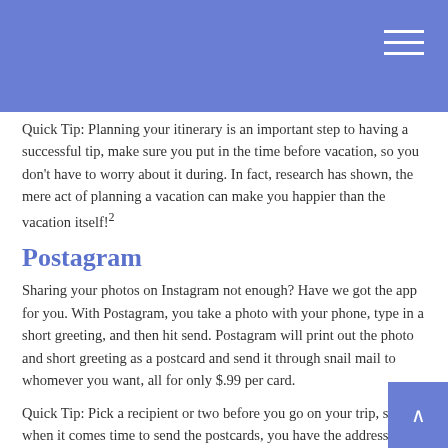Quick Tip: Planning your itinerary is an important step to having a successful tip, make sure you put in the time before vacation, so you don't have to worry about it during. In fact, research has shown, the mere act of planning a vacation can make you happier than the vacation itself!²
Postagram
Sharing your photos on Instagram not enough? Have we got the app for you. With Postagram, you take a photo with your phone, type in a short greeting, and then hit send. Postagram will print out the photo and short greeting as a postcard and send it through snail mail to whomever you want, all for only $.99 per card.
Quick Tip: Pick a recipient or two before you go on your trip, so that when it comes time to send the postcards, you have the addresses handy.